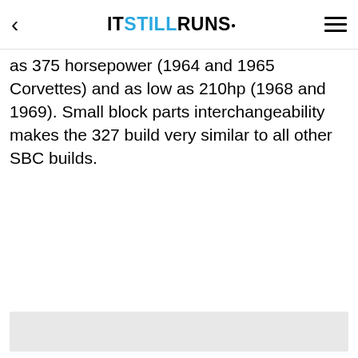IT STILL RUNS.
as 375 horsepower (1964 and 1965 Corvettes) and as low as 210hp (1968 and 1969). Small block parts interchangeability makes the 327 build very similar to all other SBC builds.
[Figure (photo): Light grey placeholder image area]